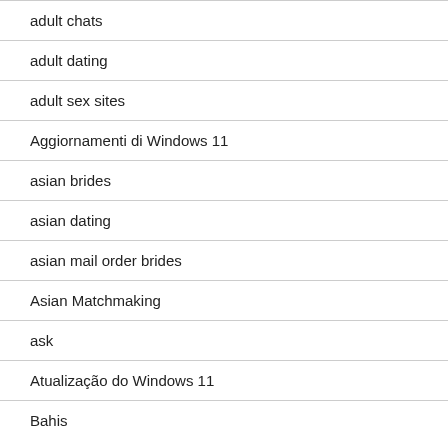adult chats
adult dating
adult sex sites
Aggiornamenti di Windows 11
asian brides
asian dating
asian mail order brides
Asian Matchmaking
ask
Atualização do Windows 11
Bahis